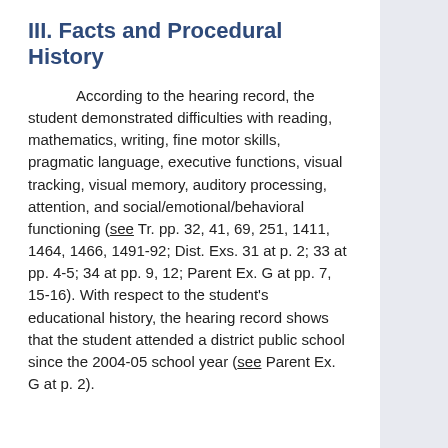III. Facts and Procedural History
According to the hearing record, the student demonstrated difficulties with reading, mathematics, writing, fine motor skills, pragmatic language, executive functions, visual tracking, visual memory, auditory processing, attention, and social/emotional/behavioral functioning (see Tr. pp. 32, 41, 69, 251, 1411, 1464, 1466, 1491-92; Dist. Exs. 31 at p. 2; 33 at pp. 4-5; 34 at pp. 9, 12; Parent Ex. G at pp. 7, 15-16). With respect to the student's educational history, the hearing record shows that the student attended a district public school since the 2004-05 school year (see Parent Ex. G at p. 2).